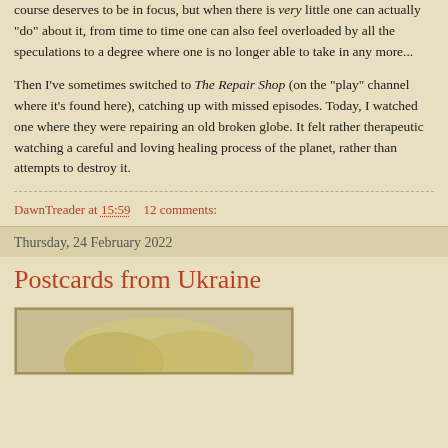course deserves to be in focus, but when there is very little one can actually "do" about it, from time to time one can also feel overloaded by all the speculations to a degree where one is no longer able to take in any more...
Then I've sometimes switched to The Repair Shop (on the "play" channel where it's found here), catching up with missed episodes. Today, I watched one where they were repairing an old broken globe. It felt rather therapeutic watching a careful and loving healing process of the planet, rather than attempts to destroy it.
DawnTreader at 15:59   12 comments:
Thursday, 24 February 2022
Postcards from Ukraine
[Figure (photo): A partial view of an image, appearing to show an illustration or painting with golden/tan tones, partially visible at the bottom of the page.]